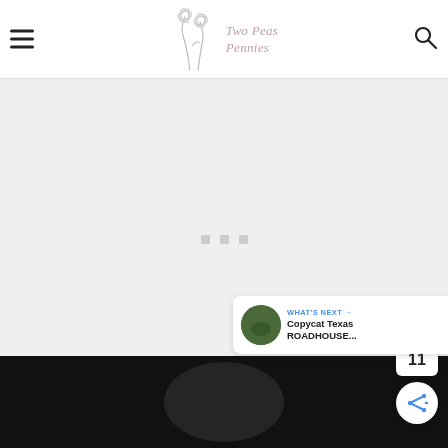[Figure (logo): Two Peas Pennies blog logo with illustrated poppy flower, pen-drawn style, light gray/pink color]
11
WHAT'S NEXT → Copycat Texas ROADHOUSE...
[Figure (photo): Dark food photo at the bottom of the page, partially visible]